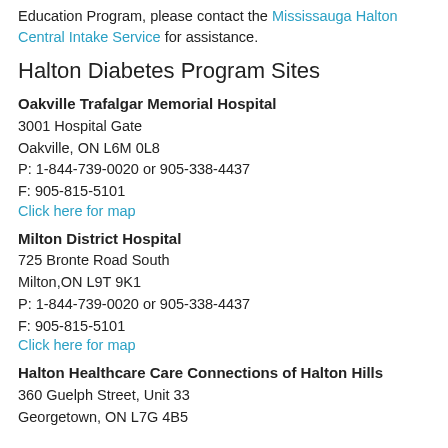Education Program, please contact the Mississauga Halton Central Intake Service for assistance.
Halton Diabetes Program Sites
Oakville Trafalgar Memorial Hospital
3001 Hospital Gate
Oakville, ON L6M 0L8
P: 1-844-739-0020 or 905-338-4437
F: 905-815-5101
Click here for map
Milton District Hospital
725 Bronte Road South
Milton,ON L9T 9K1
P: 1-844-739-0020 or 905-338-4437
F: 905-815-5101
Click here for map
Halton Healthcare Care Connections of Halton Hills
360 Guelph Street, Unit 33
Georgetown, ON L7G 4B5